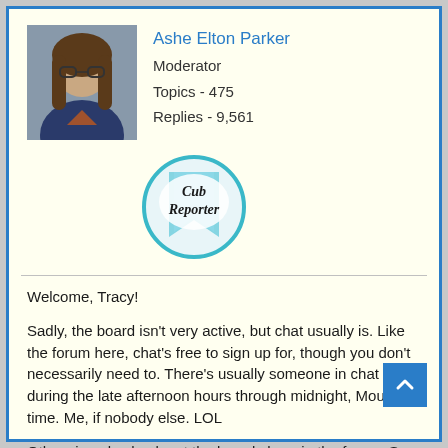[Figure (photo): Profile photo of Ashe Elton Parker, a person with long hair and glasses]
Ashe Elton Parker
Moderator
Topics - 475
Replies - 9,561
[Figure (illustration): Circular badge reading 'Cub Reporter' with a bookmark ribbon design in teal and light blue]
Welcome, Tracy!

Sadly, the board isn't very active, but chat usually is. Like the forum here, chat's free to sign up for, though you don't necessarily need to. There's usually someone in chat during the late afternoon hours through midnight, Mountain time. Me, if nobody else. LOL

Otherwise, do check out the boards here in the forum. See if something already posted inspires something within you. 🙂
.